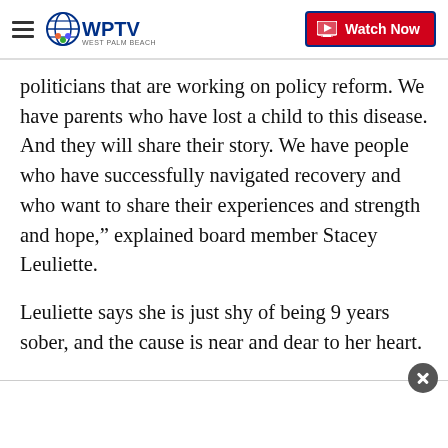WPTV West Palm Beach — Watch Now
politicians that are working on policy reform. We have parents who have lost a child to this disease. And they will share their story. We have people who have successfully navigated recovery and who want to share their experiences and strength and hope,” explained board member Stacey Leuliette.
Leuliette says she is just shy of being 9 years sober, and the cause is near and dear to her heart.
“I am happy to say today that I am a very grateful recovering alcoholic. And it has been a journey